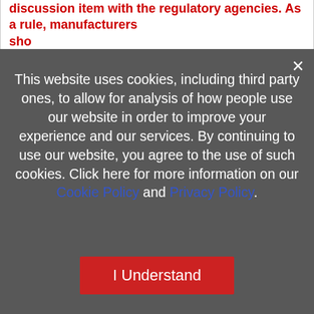discussion item with the regulatory agencies. As a rule, manufacturers should...
This website uses cookies, including third party ones, to allow for analysis of how people use our website in order to improve your experience and our services. By continuing to use our website, you agree to the use of such cookies. Click here for more information on our Cookie Policy and Privacy Policy.
I Understand